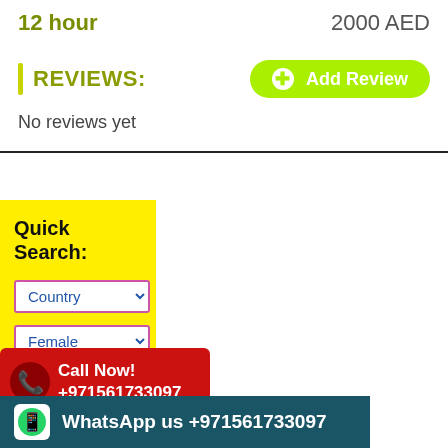12 hour   2000 AED
REVIEWS:
[Figure (other): Add Review button - green rounded pill button with plus circle icon]
No reviews yet
Quick Search:
[Figure (other): Country dropdown selector]
[Figure (other): Female dropdown selector]
[Figure (other): Call Now! +971561733097 red button with phone icon]
Only
[Figure (other): WhatsApp us +971561733097 teal banner with WhatsApp icon]
Search